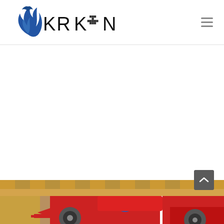[Figure (logo): Kraken logo: blue flame/fish icon on the left with the text KRAKEN in black sans-serif letters, with a pixel-art anchor replacing the E]
[Figure (other): Hamburger menu icon (three horizontal lines) in the top-right corner of the header]
[Figure (other): Back-to-top button: dark gray rounded rectangle with a white upward chevron arrow]
[Figure (photo): Partial photo at the bottom of the page showing a red Formula 1 style racing car with a driver, yellow and brown background elements visible]